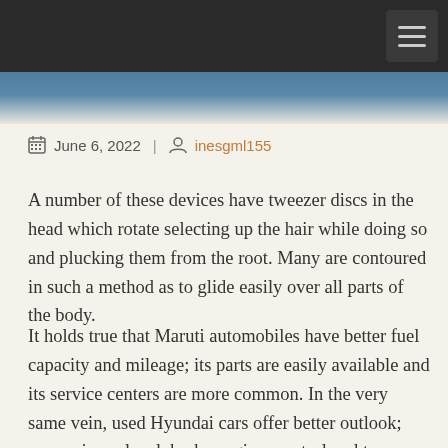June 6, 2022 | inesgml155
A number of these devices have tweezer discs in the head which rotate selecting up the hair while doing so and plucking them from the root. Many are contoured in such a method as to glide easily over all parts of the body.
It holds true that Maruti automobiles have better fuel capacity and mileage; its parts are easily available and its service centers are more common. In the very same vein, used Hyundai cars offer better outlook; convenience level, brake engine, control and torque power. Individuals who go by track record still prefer